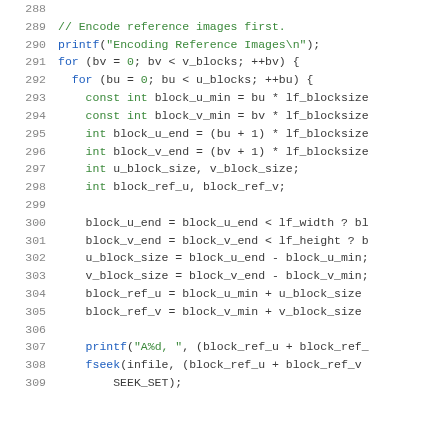[Figure (screenshot): Source code listing, lines 288-309, showing C code for encoding reference images with nested for loops, variable declarations, and printf/fseek calls.]